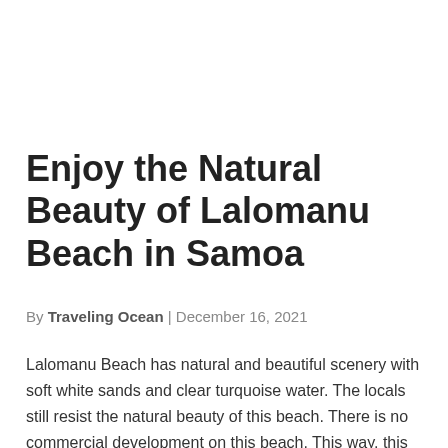Enjoy the Natural Beauty of Lalomanu Beach in Samoa
By Traveling Ocean | December 16, 2021
Lalomanu Beach has natural and beautiful scenery with soft white sands and clear turquoise water. The locals still resist the natural beauty of this beach. There is no commercial development on this beach. This way, this beach offers original ecological scenery for the visitors.
With its gorgeous scenery, Lalomanu becomes one of the best